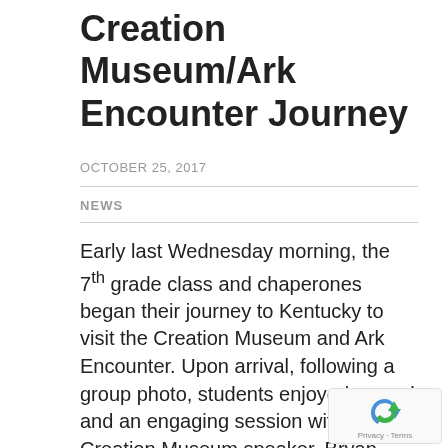Creation Museum/Ark Encounter Journey
OCTOBER 25, 2017
NEWS
Early last Wednesday morning, the 7th grade class and chaperones began their journey to Kentucky to visit the Creation Museum and Ark Encounter. Upon arrival, following a group photo, students enjoyed a meal and an engaging session with a Creation Museum speaker, Bryan Osborne. The group then departed for Potters Ranch